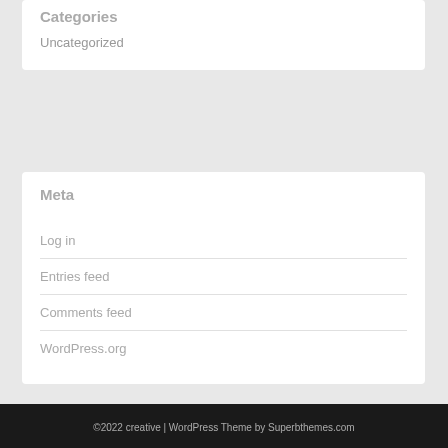Categories
Uncategorized
Meta
Log in
Entries feed
Comments feed
WordPress.org
©2022 creative | WordPress Theme by Superbthemes.com